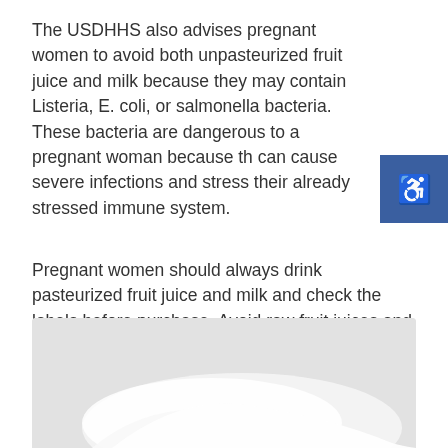The USDHHS also advises pregnant women to avoid both unpasteurized fruit juice and milk because they may contain Listeria, E. coli, or salmonella bacteria. These bacteria are dangerous to a pregnant woman because they can cause severe infections and stress their already stressed immune system.
Pregnant women should always drink pasteurized fruit juice and milk and check the labels before purchase. Avoid raw fruit juices and cider, especially fresh-squeezed juices like apple or orange juice. It would be best if you boiled unpasteurized juice or cider for about a minute before drinking to eliminate bacteria.
[Figure (photo): Photo of milk or a dairy product, showing a white liquid or cream shape against a light gray background.]